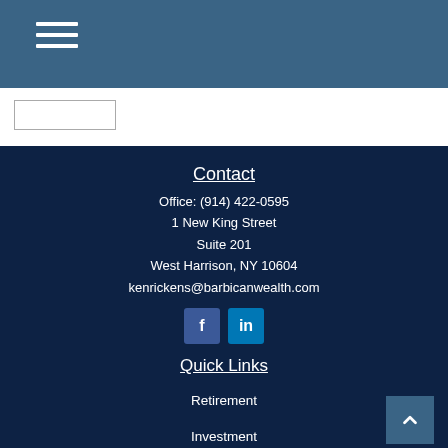[Figure (other): Navigation hamburger menu icon (three white horizontal lines) on a steel blue header bar]
[Figure (other): Search input box on white background area below the header]
Contact
Office: (914) 422-0595
1 New King Street
Suite 201
West Harrison, NY 10604
kenrickens@barbicanwealth.com
[Figure (other): Facebook and LinkedIn social media icon buttons]
Quick Links
Retirement
Investment
Estate
Insurance